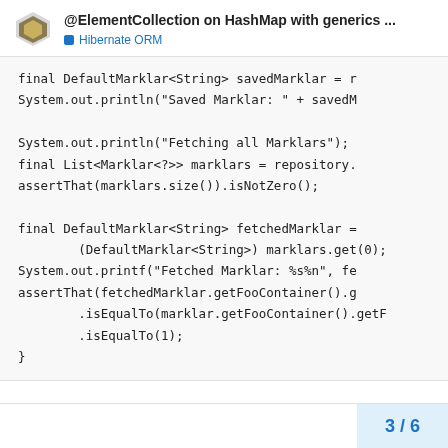@ElementCollection on HashMap with generics ... Hibernate ORM
final DefaultMarklar<String> savedMarklar = r
    System.out.println("Saved Marklar: " + savedM

    System.out.println("Fetching all Marklars");
    final List<Marklar<?>> marklars = repository.
    assertThat(marklars.size()).isNotZero();

    final DefaultMarklar<String> fetchedMarklar =
        (DefaultMarklar<String>) marklars.get(0);
    System.out.printf("Fetched Marklar: %s%n", fe
    assertThat(fetchedMarklar.getFooContainer().g
        .isEqualTo(marklar.getFooContainer().getF
        .isEqualTo(1);
}
3 / 6